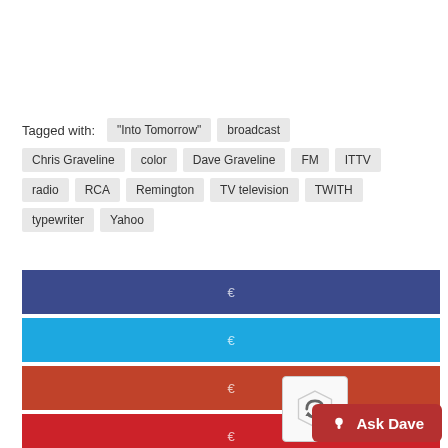Tagged with: "Into Tomorrow" broadcast Chris Graveline color Dave Graveline FM ITTV radio RCA Remington TV television TWITH typewriter Yahoo
[Figure (infographic): Five horizontal social share bars: dark blue (Facebook), light blue (Twitter), red-orange (Google+), red (Pinterest), grey (other/share count 88)]
Ask Dave